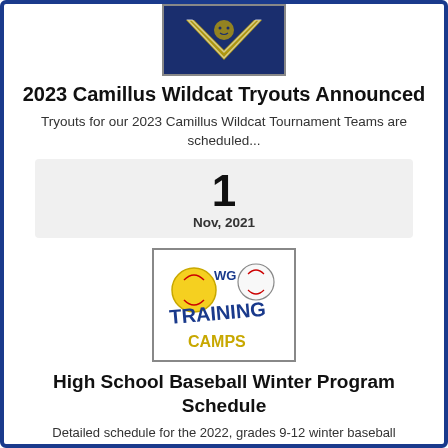[Figure (logo): Camillus Wildcat logo — dark navy background with gold/white wildcat graphic]
2023 Camillus Wildcat Tryouts Announced
Tryouts for our 2023 Camillus Wildcat Tournament Teams are scheduled...
1
Nov, 2021
[Figure (logo): WG Winter Training Camps logo with softball, baseball, and Training Camps text in blue and gold]
High School Baseball Winter Program Schedule
Detailed schedule for the 2022, grades 9-12 winter baseball workout program. (Weather dependent.)
6
Oct, 2021